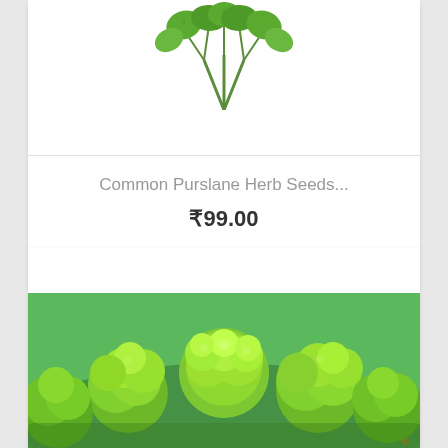[Figure (photo): Photo of purslane herb plant with green round leaves on white background, partially cropped at top]
Common Purslane Herb Seeds...
₹99.00
[Figure (photo): Close-up photo of bright green curly parsley herb growing in garden]